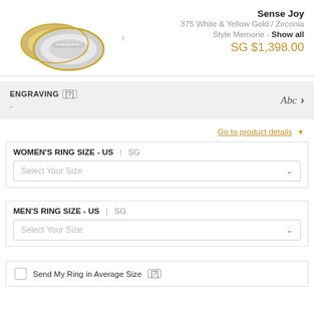[Figure (photo): Two wedding rings in white and yellow gold with zirconia stones]
Sense Joy
375 White & Yellow Gold / Zirconia
Style Memorie - Show all
SG $1,398.00
ENGRAVING [?]
-
Abc >
Go to product details ▼
WOMEN'S RING SIZE - US | SG
Select Your Size
MEN'S RING SIZE - US | SG
Select Your Size
Send My Ring in Average Size [?]